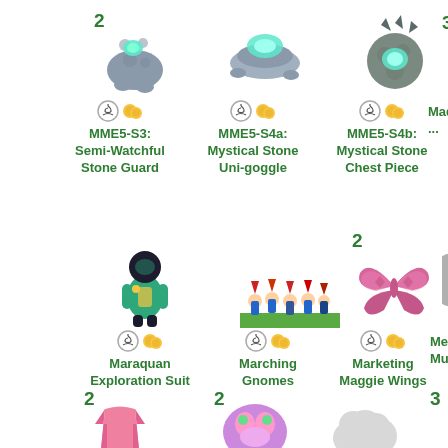[Figure (illustration): Stone guard creature with glowing eye, badge number 2]
MME5-S3:
Semi-Watchful
Stone Guard
[Figure (illustration): Mystical stone flat creature with glowing top]
MME5-S4a:
Mystical Stone
Uni-goggle
[Figure (illustration): Mystical stone chest piece with glowing eye, dark spiky back]
MME5-S4b:
Mystical Stone
Chest Piece
[Figure (illustration): Partial figure at right edge, badge number 3, Mad something]
Mad ...
[Figure (illustration): Maraquan Exploration Suit - green suited figure]
Maraquan
Exploration Suit
[Figure (illustration): Marching Gnomes - row of small gnomes in grass]
Marching
Gnomes
[Figure (illustration): Marketing Maggie Wings - pink butterfly wings, badge number 2]
Marketing
Maggie Wings
[Figure (illustration): Partial grey gear/mushroom at right edge, Me... Mu...]
Me...
Mu...
[Figure (illustration): Partial pink creature at bottom left, badge number 2]
[Figure (illustration): Partial colorful creature at bottom center, badge number 2]
[Figure (illustration): Partial grey cloud creature at bottom center-right]
[Figure (illustration): Partial figure at bottom right, badge number 3]